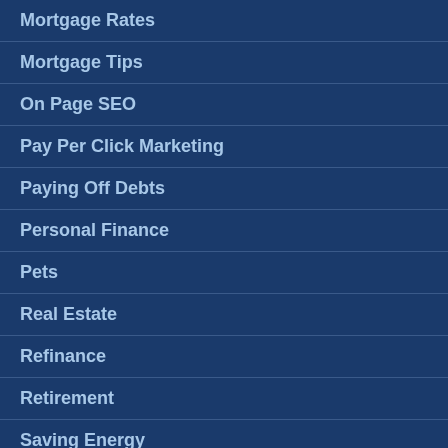Mortgage Rates
Mortgage Tips
On Page SEO
Pay Per Click Marketing
Paying Off Debts
Personal Finance
Pets
Real Estate
Refinance
Retirement
Saving Energy